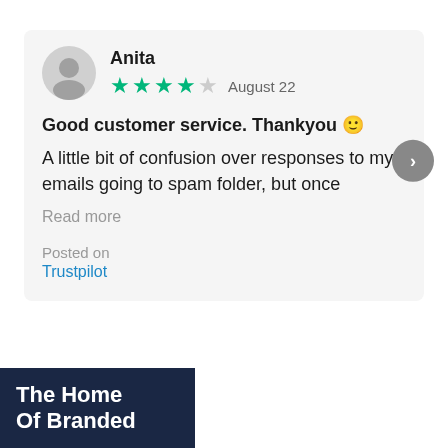Anita
4 out of 5 stars — August 22
Good customer service. Thankyou 🙂
A little bit of confusion over responses to my emails going to spam folder, but once
Read more
Posted on
Trustpilot
[Figure (logo): Dark navy banner with white bold text 'The Home' (partially visible)]